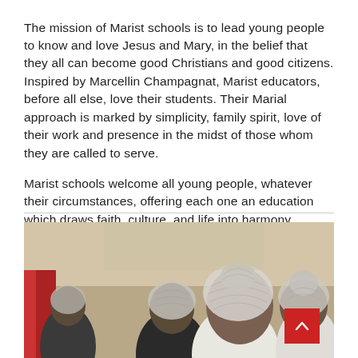The mission of Marist schools is to lead young people to know and love Jesus and Mary, in the belief that they all can become good Christians and good citizens. Inspired by Marcellin Champagnat, Marist educators, before all else, love their students. Their Marial approach is marked by simplicity, family spirit, love of their work and presence in the midst of those whom they are called to serve.
Marist schools welcome all young people, whatever their circumstances, offering each one an education which draws faith, culture, and life into harmony.
[Figure (photo): Photo of people wearing hair nets/caps viewed from behind, in what appears to be a food preparation or kitchen setting. A red scroll-to-top button is visible in the bottom right corner.]